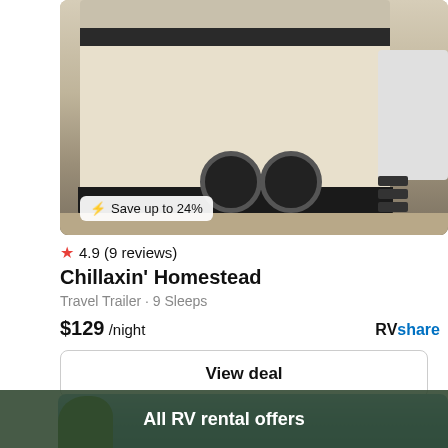[Figure (photo): RV travel trailer photo with 'Save up to 24%' badge overlay]
4.9 (9 reviews)
Chillaxin' Homestead
Travel Trailer · 9 Sleeps
$129 /night
RVshare
View deal
[Figure (photo): Partial view of next listing card showing blue sky and green tree]
All RV rental offers